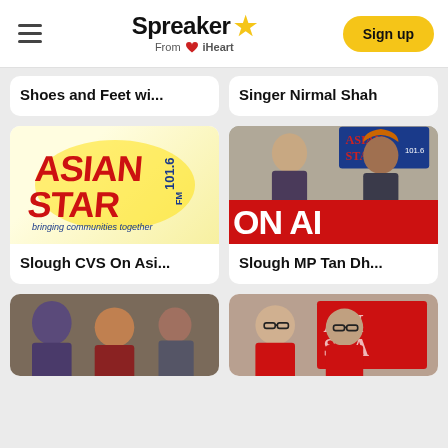Spreaker From iHeart | Sign up
Shoes and Feet wi...
Singer Nirmal Shah
[Figure (logo): Asian Star 101.6 FM logo - bringing communities together]
Slough CVS On Asi...
[Figure (photo): Two people in a radio studio with Asian Star 101.6 FM banner, and ON AIR sign below]
Slough MP Tan Dh...
[Figure (photo): Three people in casual setting outdoors]
[Figure (photo): Two bald/glasses men in front of Asian Star banner]